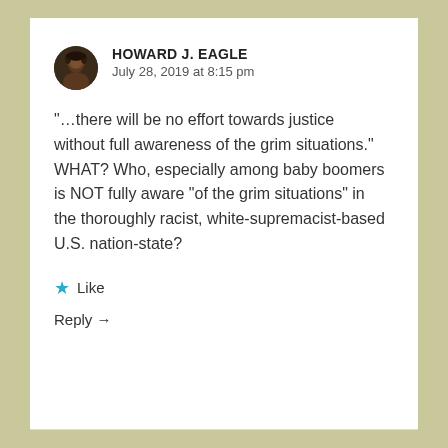HOWARD J. EAGLE
July 28, 2019 at 8:15 pm
“…there will be no effort towards justice without full awareness of the grim situations.” WHAT? Who, especially among baby boomers is NOT fully aware “of the grim situations” in the thoroughly racist, white-supremacist-based U.S. nation-state?
★ Like
Reply →